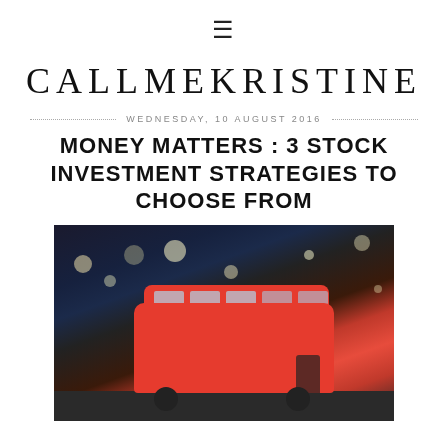≡
CALLMEKRISTINE
WEDNESDAY, 10 AUGUST 2016
MONEY MATTERS : 3 STOCK INVESTMENT STRATEGIES TO CHOOSE FROM
[Figure (photo): A red double-decker bus on a city street at night with festive lights and bokeh, resembling Oxford Street London at Christmas]